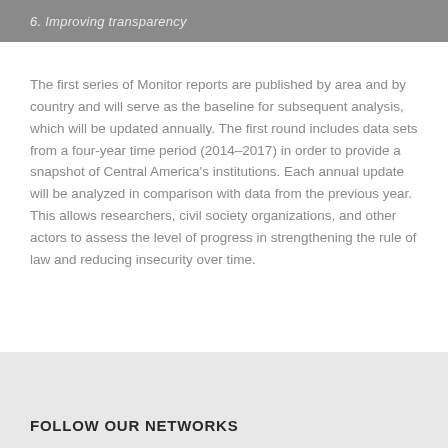6. Improving transparency
The first series of Monitor reports are published by area and by country and will serve as the baseline for subsequent analysis, which will be updated annually. The first round includes data sets from a four-year time period (2014–2017) in order to provide a snapshot of Central America's institutions. Each annual update will be analyzed in comparison with data from the previous year. This allows researchers, civil society organizations, and other actors to assess the level of progress in strengthening the rule of law and reducing insecurity over time.
FOLLOW OUR NETWORKS